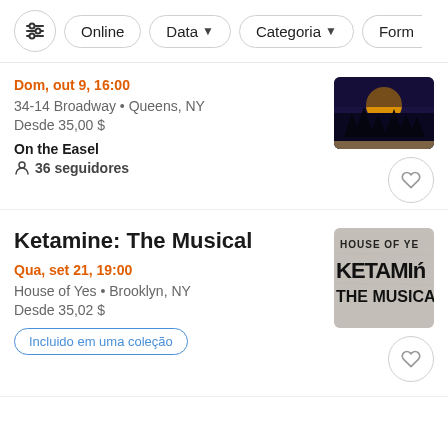Online | Data | Categoria | Form
Dom, out 9, 16:00
34-14 Broadway • Queens, NY
Desde 35,00 $
On the Easel
36 seguidores
Ketamine: The Musical
Qua, set 21, 19:00
House of Yes • Brooklyn, NY
Desde 35,02 $
Incluido em uma coleção